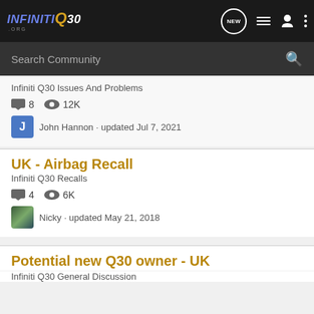INFINITI Q30 .ORG
Search Community
Infiniti Q30 Issues And Problems
8 comments · 12K views · John Hannon · updated Jul 7, 2021
UK - Airbag Recall
Infiniti Q30 Recalls
4 comments · 6K views · Nicky · updated May 21, 2018
Potential new Q30 owner - UK
Infiniti Q30 General Discussion